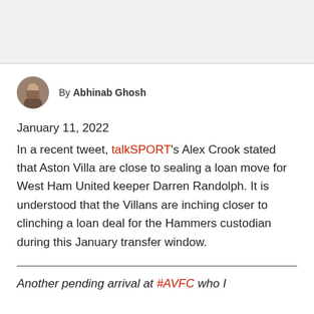[Figure (photo): Gray placeholder image area at the top of the page]
By Abhinab Ghosh
January 11, 2022
In a recent tweet, talkSPORT's Alex Crook stated that Aston Villa are close to sealing a loan move for West Ham United keeper Darren Randolph. It is understood that the Villans are inching closer to clinching a loan deal for the Hammers custodian during this January transfer window.
Another pending arrival at #AVFC who I